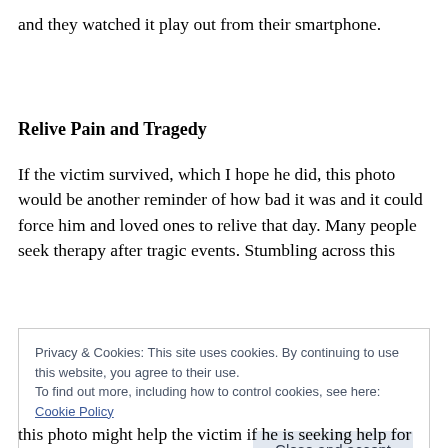and they watched it play out from their smartphone.
Relive Pain and Tragedy
If the victim survived, which I hope he did, this photo would be another reminder of how bad it was and it could force him and loved ones to relive that day. Many people seek therapy after tragic events. Stumbling across this
Privacy & Cookies: This site uses cookies. By continuing to use this website, you agree to their use.
To find out more, including how to control cookies, see here: Cookie Policy
this photo might help the victim if he is seeking help for